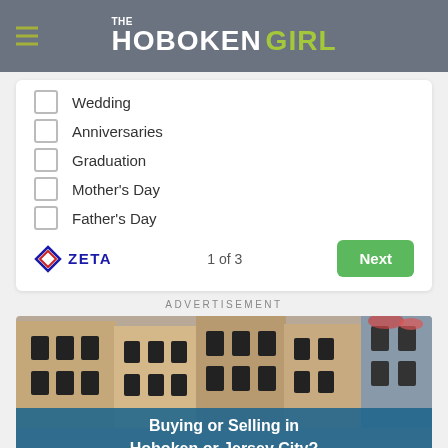THE HOBOKEN GIRL
Wedding
Anniversaries
Graduation
Mother's Day
Father's Day
1 of 3
ADVERTISEMENT
[Figure (photo): Advertisement photo showing brownstone buildings in Hoboken/Jersey City with text overlay 'Buying or Selling in Hoboken or Jersey City?']